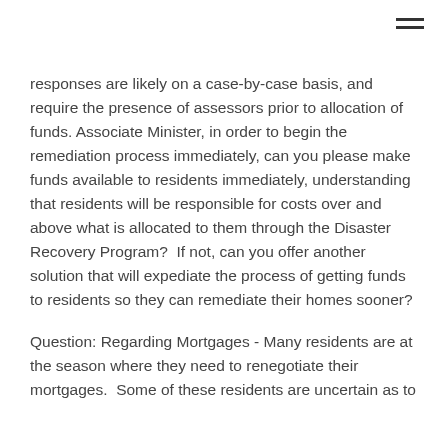responses are likely on a case-by-case basis, and require the presence of assessors prior to allocation of funds. Associate Minister, in order to begin the remediation process immediately, can you please make funds available to residents immediately, understanding that residents will be responsible for costs over and above what is allocated to them through the Disaster Recovery Program?  If not, can you offer another solution that will expediate the process of getting funds to residents so they can remediate their homes sooner?
Question: Regarding Mortgages - Many residents are at the season where they need to renegotiate their mortgages.  Some of these residents are uncertain as to